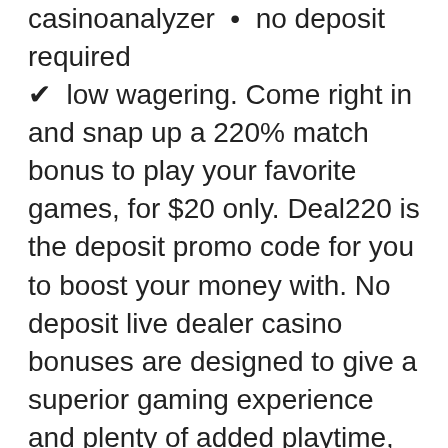casinoanalyzer  •  no deposit required ✔  low wagering. Come right in and snap up a 220% match bonus to play your favorite games, for $20 only. Deal220 is the deposit promo code for you to boost your money with. No deposit live dealer casino bonuses are designed to give a superior gaming experience and plenty of added playtime, provided that you know how to use it. The way no deposit codes work is that during the registration process as a new player you'll be asked to enter a bonus coupon or code in the. Slotocash no deposit bonuses : poker games are played via online which excites the player and increases the curiosity once the player goes on to next level. These casinos also have no deposit bonuses, which means immediate gaming for free. Malina casino no deposit bonus in sa free cash bonuses are a type of no. May 14, 2019 - start winning